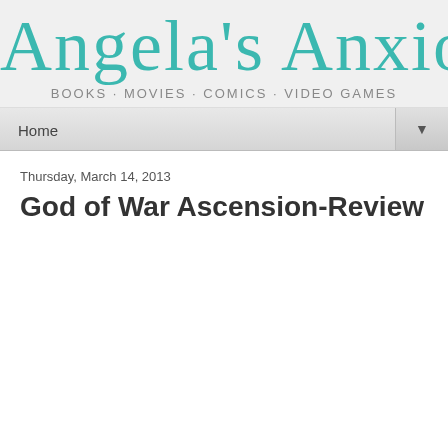Angela's Anxious Life
BOOKS · MOVIES · COMICS · VIDEO GAMES
Home
Thursday, March 14, 2013
God of War Ascension-Review